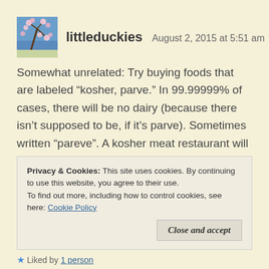littleduckies   August 2, 2015 at 5:51 am
Somewhat unrelated: Try buying foods that are labeled “kosher, parve.” In 99.99999% of cases, there will be no dairy (because there isn’t supposed to be, if it’s parve). Sometimes written “pareve”. A kosher meat restaurant will also do the trick, or just go into any kosher restaurant and order parve, Parve – containing neither meat nor dairy, even traces, with utensils cleaned between runs.
Privacy & Cookies: This site uses cookies. By continuing to use this website, you agree to their use.
To find out more, including how to control cookies, see here: Cookie Policy
Close and accept
Liked by 1 person